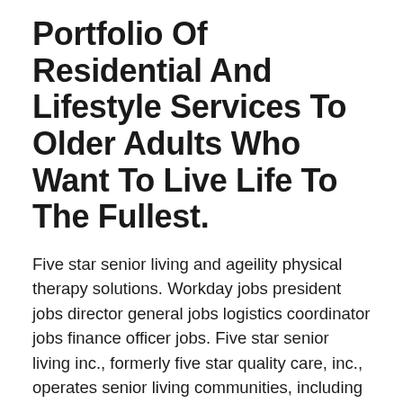Portfolio Of Residential And Lifestyle Services To Older Adults Who Want To Live Life To The Fullest.
Five star senior living and ageility physical therapy solutions. Workday jobs president jobs director general jobs logistics coordinator jobs finance officer jobs. Five star senior living inc., formerly five star quality care, inc., operates senior living communities, including independent living communities, assisted living communities and skilled nursing facilities (snfs).
As An Employee, Our